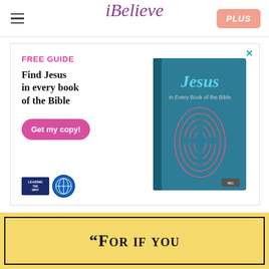iBelieve   PLUS
[Figure (illustration): Advertisement banner for a free guide 'Find Jesus in every book of the Bible' with a book cover image showing 'Jesus in Every Book of the Bible' with a fingerprint-cross graphic, a pink 'Get my copy!' button, and Leading the Way logo.]
[Figure (photo): Partial image of a yellow quote card with black border beginning with the text '"For if you']